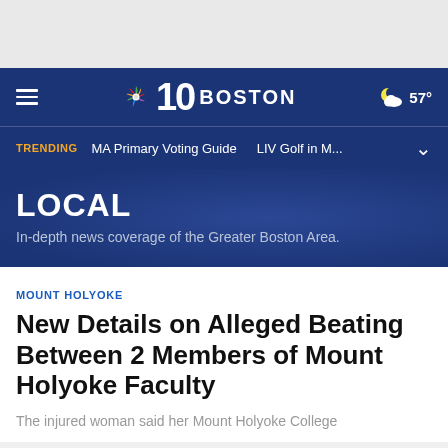[Figure (screenshot): NBC 10 Boston website navigation header with hamburger menu, NBC peacock logo, '10 BOSTON' text, and weather showing partly cloudy 57°]
10 BOSTON
TRENDING   MA Primary Voting Guide   LIV Golf in M...
LOCAL
In-depth news coverage of the Greater Boston Area.
MOUNT HOLYOKE
New Details on Alleged Beating Between 2 Members of Mount Holyoke Faculty
The injured woman said her Mount Holyoke College